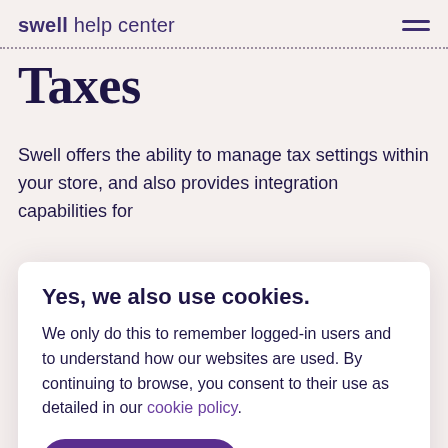swell help center
Taxes
Swell offers the ability to manage tax settings within your store, and also provides integration capabilities for
Yes, we also use cookies.
We only do this to remember logged-in users and to understand how our websites are used. By continuing to browse, you consent to their use as detailed in our cookie policy.
Okay, that's fine
You may add multiple tax rules for Swell to use to